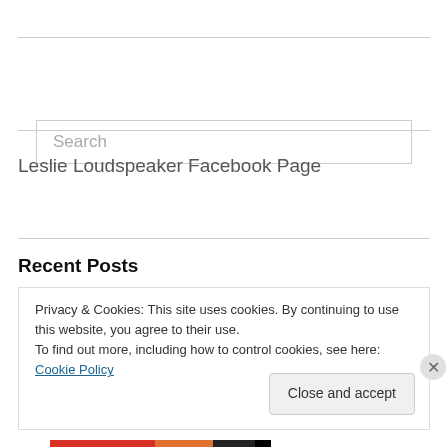[Figure (screenshot): Search input box with placeholder text 'Search']
Leslie Loudspeaker Facebook Page
Recent Posts
Privacy & Cookies: This site uses cookies. By continuing to use this website, you agree to their use.
To find out more, including how to control cookies, see here: Cookie Policy
Close and accept